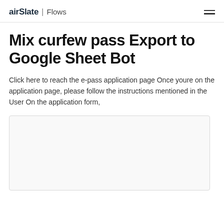airSlate | Flows
Mix curfew pass Export to Google Sheet Bot
Click here to reach the e-pass application page Once youre on the application page, please follow the instructions mentioned in the User On the application form,
[Figure (other): Empty light gray content box placeholder]